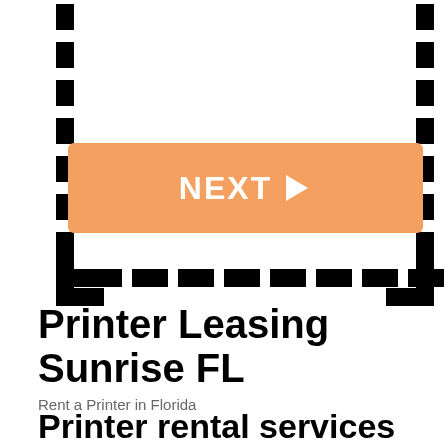[Figure (other): Dashed border box with orange NEXT button containing right-pointing triangle arrow]
Printer Leasing Sunrise FL
Rent a Printer in Florida
Printer rental services